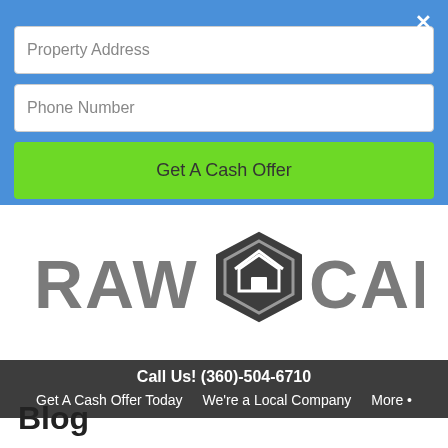Property Address
Phone Number
Get A Cash Offer
[Figure (logo): Raw Capital logo with hexagon house icon and text RAW CAPITAL]
Call Us! (360)-504-6710  Get A Cash Offer Today  We're a Local Company  More •
Blog